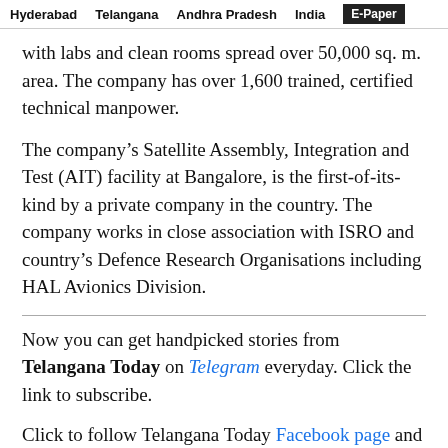Hyderabad   Telangana   Andhra Pradesh   India   E-Paper
with labs and clean rooms spread over 50,000 sq. m. area. The company has over 1,600 trained, certified technical manpower.
The company's Satellite Assembly, Integration and Test (AIT) facility at Bangalore, is the first-of-its-kind by a private company in the country. The company works in close association with ISRO and country's Defence Research Organisations including HAL Avionics Division.
Now you can get handpicked stories from Telangana Today on Telegram everyday. Click the link to subscribe.
Click to follow Telangana Today Facebook page and Twitter .